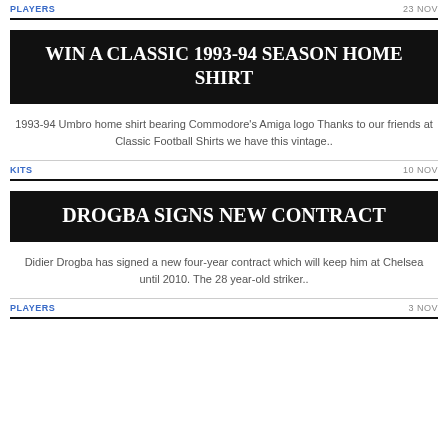PLAYERS | 23 NOV
WIN A CLASSIC 1993-94 SEASON HOME SHIRT
1993-94 Umbro home shirt bearing Commodore's Amiga logo Thanks to our friends at Classic Football Shirts we have this vintage..
KITS | 10 NOV
DROGBA SIGNS NEW CONTRACT
Didier Drogba has signed a new four-year contract which will keep him at Chelsea until 2010. The 28 year-old striker..
PLAYERS | 3 NOV